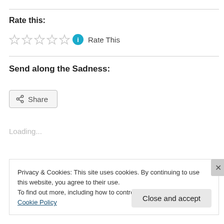Rate this:
[Figure (other): Five empty star rating icons followed by a teal info icon and the text 'Rate This']
Send along the Sadness:
[Figure (other): A Share button with a share icon]
Loading...
Privacy & Cookies: This site uses cookies. By continuing to use this website, you agree to their use.
To find out more, including how to control cookies, see here: Cookie Policy
Close and accept